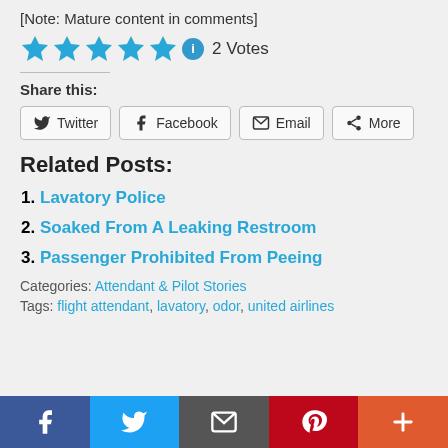[Note: Mature content in comments]
★★★★★ ℹ 2 Votes
Share this:
Twitter | Facebook | Email | More
Related Posts:
1. Lavatory Police
2. Soaked From A Leaking Restroom
3. Passenger Prohibited From Peeing
Categories: Attendant & Pilot Stories
Tags: flight attendant, lavatory, odor, united airlines